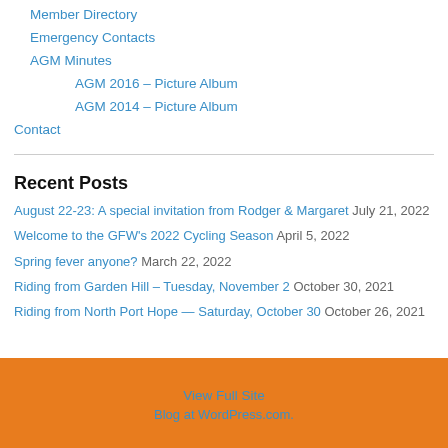Member Directory
Emergency Contacts
AGM Minutes
AGM 2016 – Picture Album
AGM 2014 – Picture Album
Contact
Recent Posts
August 22-23: A special invitation from Rodger & Margaret July 21, 2022
Welcome to the GFW's 2022 Cycling Season April 5, 2022
Spring fever anyone? March 22, 2022
Riding from Garden Hill – Tuesday, November 2 October 30, 2021
Riding from North Port Hope — Saturday, October 30 October 26, 2021
View Full Site
Blog at WordPress.com.